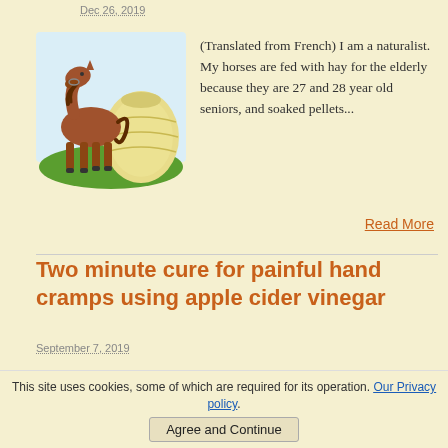Dec 26, 2019
[Figure (illustration): Cartoon illustration of a brown horse standing next to a large round hay bale on green grass with a light blue background]
(Translated from French) I am a naturalist. My horses are fed with hay for the elderly because they are 27 and 28 year old seniors, and soaked pellets...
Read More
Two minute cure for painful hand cramps using apple cider vinegar
September 7, 2019
This site uses cookies, some of which are required for its operation. Our Privacy policy.
Agree and Continue